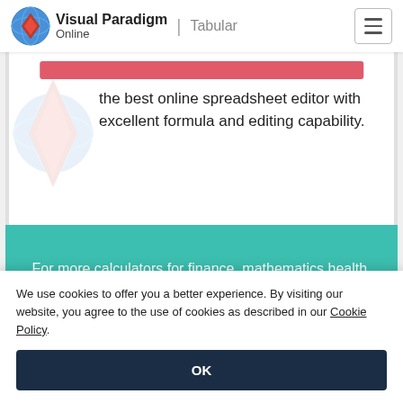Visual Paradigm Online | Tabular
the best online spreadsheet editor with excellent formula and editing capability.
For more calculators for finance, mathematics health, unit converters and more check out our calculators collection.
We use cookies to offer you a better experience. By visiting our website, you agree to the use of cookies as described in our Cookie Policy.